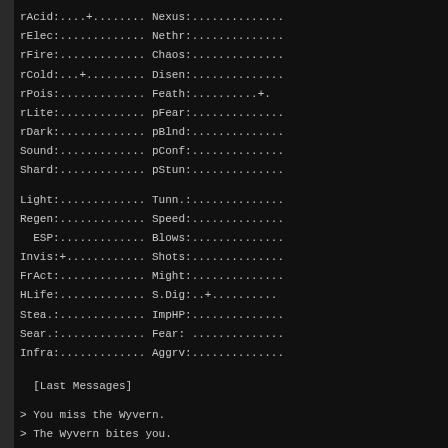rAcid:....+........ Nexus:.............
rElec:............. Nethr:.............
rFire:............. Chaos:.............
rCold:...+......... Disen:.............
rPois:............. Feath:..........+.
rLite:............. pFear:.............
rDark:............. pBlnd:.............
Sound:............. pConf:.............
Shard:............. pStun:.............
Light:............. Tunn.:.............
Regen:............. Speed:.............
  ESP:............. Blows:.............
Invis:+............ Shots:.............
FrAct:............. Might:.............
HLife:............. S.Dig:..+..........
Stea.:............. ImpHP:.............
Sear.:............. Fear:  ............
Infra:............. Aggrv:.............
[Last Messages]
> You miss the Wyvern.
> The Wyvern bites you.
> *** LOW HITPOINT WARNING! ***
> The Wyvern bites you.
> *** LOW HITPOINT WARNING! ***
> The Wyvern misses you.
> *** LOW HITPOINT WARNING! ***
> You have a Scroll titled "adritex ter" {tried} (h).
> The Wyvern bites you.
> *** LOW HITPOINT WARNING! ***
> The Wyvern bites you.
> *** LOW HITPOINT WARNING! ***
> The Wyvern misses you.